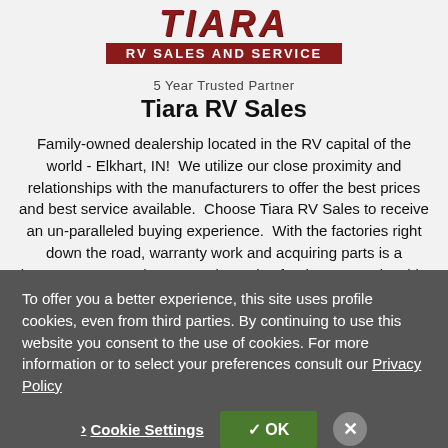[Figure (logo): Tiara RV Sales and Service logo — red stylized TIARA text above a red banner reading RV SALES AND SERVICE]
5 Year Trusted Partner
Tiara RV Sales
Family-owned dealership located in the RV capital of the world - Elkhart, IN!  We utilize our close proximity and relationships with the manufacturers to offer the best prices and best service available.  Choose Tiara RV Sales to receive an un-paralleled buying experience.  With the factories right down the road, warranty work and acquiring parts is a breeze.  Contact Tiara RV Sales today for the most enjoyable
To offer you a better experience, this site uses profile cookies, even from third parties. By continuing to use this website you consent to the use of cookies. For more information or to select your preferences consult our Privacy Policy